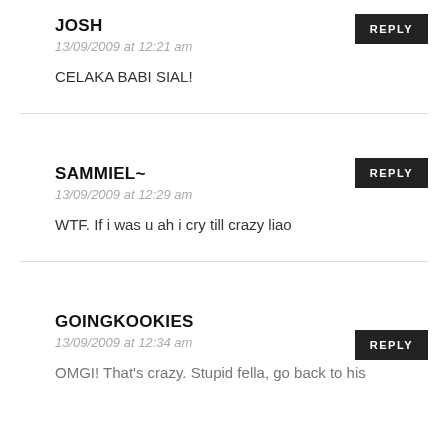REPLY
JOSH
13/09/2009 at 12:21 am
CELAKA BABI SIAL!
REPLY
SAMMIEL~
13/09/2009 at 12:29 am
WTF. If i was u ah i cry till crazy liao
REPLY
GOINGKOOKIES
13/09/2009 at 12:34 am
OMGI! That's crazy. Stupid fella, go back to his